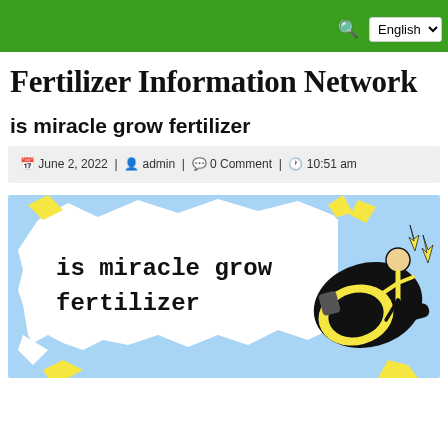English [dropdown]
Fertilizer Information Network
is miracle grow fertilizer
June 2, 2022 | admin | 0 Comment | 10:51 am
[Figure (illustration): Banner image with light blue background, a white speech bubble containing the text 'is miracle grow fertilizer' in bold monospace font, and a cartoon megaphone with a figure on top with yellow lightning bolts.]